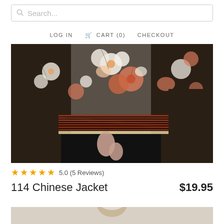Search...
LOG IN  CART (0)  CHECKOUT
[Figure (photo): Close-up photo of a floral Chinese jacket with black and orange cherry blossom pattern on dark background, with decorative striped border trim at the hem, worn over black pants. Model's hands and torso visible.]
5.0 (5 Reviews)
114 Chinese Jacket
$19.95
[Figure (photo): Partial view of second product photo showing a person from approximately the shoulders up with light/grey hair, against a light background.]